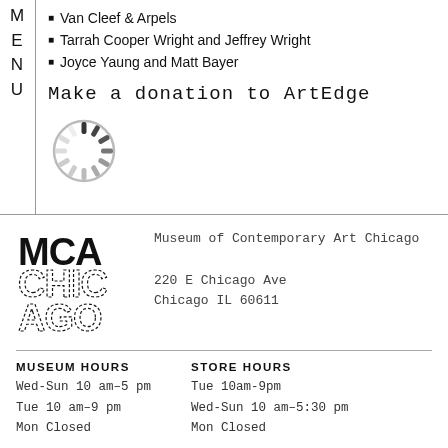Van Cleef & Arpels
Tarrah Cooper Wright and Jeffrey Wright
Joyce Yaung and Matt Bayer
Make a donation to ArtEdge
[Figure (logo): Circular spinner/loading icon in gray]
[Figure (logo): MCA Chicago stacked logo with dashed letters]
Museum of Contemporary Art Chicago
220 E Chicago Ave
Chicago IL 60611
MUSEUM HOURS
Wed-Sun 10 am–5 pm
Tue 10 am–9 pm
Mon Closed
STORE HOURS
Tue 10am-9pm
Wed-Sun 10 am–5:30 pm
Mon Closed
HOLIDAY HOURS
The museum is closed New Year's Day, Thanksgiving Day, and Christmas Day.